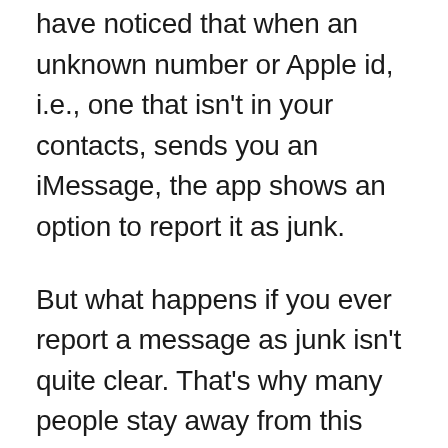have noticed that when an unknown number or Apple id, i.e., one that isn't in your contacts, sends you an iMessage, the app shows an option to report it as junk.
But what happens if you ever report a message as junk isn't quite clear. That's why many people stay away from this option. As what happens isn't exactly clear, it's normal to worry if you report someone as junk by mistake or if someone reports your message as junk. Let's get you some answers, shall we?